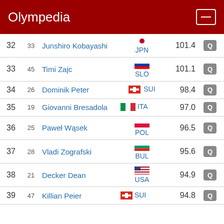Olympedia
| Rank | Bib | Name | Country | Score | Q |
| --- | --- | --- | --- | --- | --- |
| 32 | 33 | Junshiro Kobayashi | JPN | 101.4 | Q |
| 33 | 45 | Timi Zajc | SLO | 101.1 | Q |
| 34 | 26 | Dominik Peter | SUI | 98.4 | Q |
| 35 | 19 | Giovanni Bresadola | ITA | 97.0 | Q |
| 36 | 25 | Paweł Wąsek | POL | 96.5 | Q |
| 37 | 28 | Vladi Zografski | BUL | 95.6 | Q |
| 38 | 21 | Decker Dean | USA | 94.9 | Q |
| 39 | 47 | Killian Peier | SUI | 94.8 | Q |